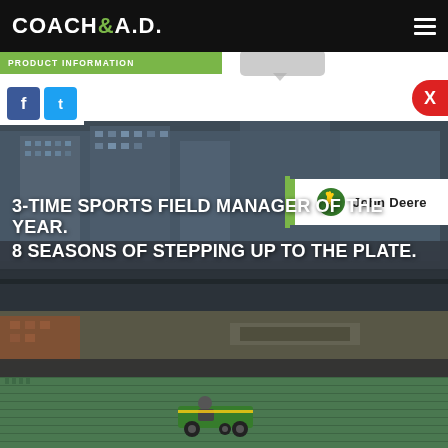COACH & A.D.
PRODUCT INFORMATION
[Figure (screenshot): Coach and AD website screenshot showing a John Deere sponsored page. Top black navigation bar with COACH&A.D. logo and hamburger menu. Green PRODUCT INFORMATION label bar. Facebook and Twitter social share buttons. Red X close button. Main image of a baseball stadium at dusk with John Deere logo badge overlay and large white bold text: 3-TIME SPORTS FIELD MANAGER OF THE YEAR. 8 SEASONS OF STEPPING UP TO THE PLATE. Bottom section shows stadium seating area with a green John Deere grounds maintenance vehicle.]